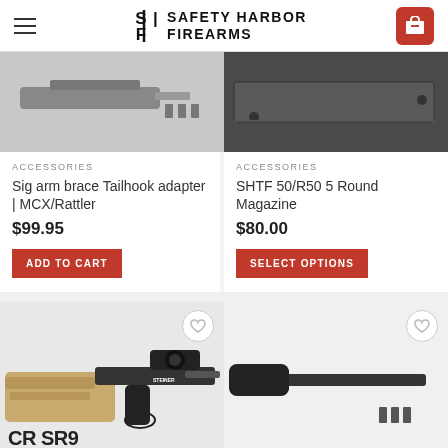Safety Harbor Firearms
[Figure (photo): Product image of Sig arm brace Tailhook adapter for MCX/Rattler, showing a firearm stock component in gray on light background]
[Figure (photo): Product image of SHTF 50/R50 5 Round Magazine, showing a dark flat magazine component on dark background]
ACCESSORIES
Sig arm brace Tailhook adapter | MCX/Rattler
$99.95
ADD TO CART
ACCESSORIES
SHTF 50/R50 5 Round Magazine
$80.00
SELECT OPTIONS
[Figure (photo): Product image of CR SR9 rifle with tan/FDE stock and optic mounted]
[Figure (photo): Product image of a gun barrel/suppressor component on white background]
CR SR9